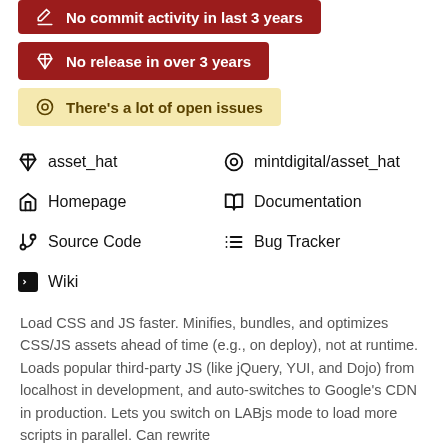No commit activity in last 3 years
No release in over 3 years
There's a lot of open issues
asset_hat
mintdigital/asset_hat
Homepage
Documentation
Source Code
Bug Tracker
Wiki
Load CSS and JS faster. Minifies, bundles, and optimizes CSS/JS assets ahead of time (e.g., on deploy), not at runtime. Loads popular third-party JS (like jQuery, YUI, and Dojo) from localhost in development, and auto-switches to Google's CDN in production. Lets you switch on LABjs mode to load more scripts in parallel. Can rewrite